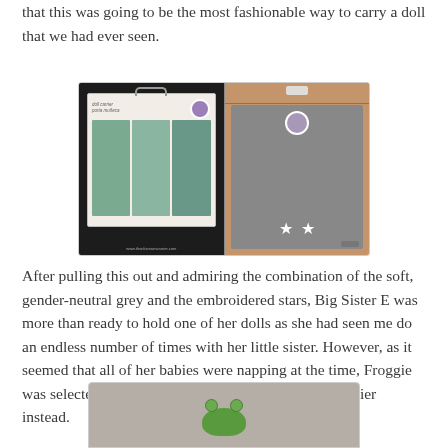that this was going to be the most fashionable way to carry a doll that we had ever seen.
[Figure (photo): Two-panel photo: left panel shows a doll carrier product box on a dark background with a handle and images of children wearing carriers; right panel shows an open cardboard box containing grey fabric with embroidered stars and a logo patch. Watermark reads www.thanksmamcarrier.com]
After pulling this out and admiring the combination of the soft, gender-neutral grey and the embroidered stars, Big Sister E was more than ready to hold one of her dolls as she had seen me do an endless number of times with her little sister. However, as it seemed that all of her babies were napping at the time, Froggie was selected to come try out the ERGObaby Doll Carrier instead.
[Figure (photo): Partial photo at bottom of page showing what appears to be a grey textured surface with a green frog toy visible]